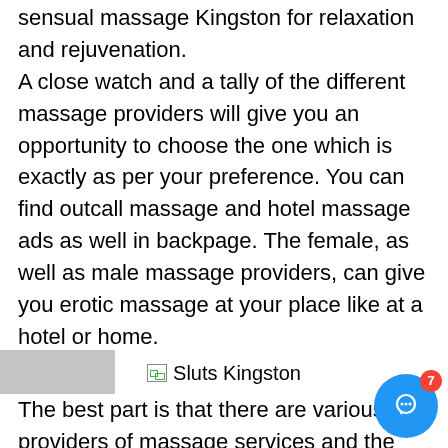sensual massage Kingston for relaxation and rejuvenation. A close watch and a tally of the different massage providers will give you an opportunity to choose the one which is exactly as per your preference. You can find outcall massage and hotel massage ads as well in backpage. The female, as well as male massage providers, can give you erotic massage at your place like at a hotel or home.
[Figure (other): Broken image placeholder with alt text 'Sluts Kingston']
The best part is that there are various providers of massage services and the ratings have been given by their existing clients. So, you can get a fair idea of the quality of service of each massage provider. The massage sessions which are being offered by the massage service providers in Kingston are of various time sessions like 45 minutes, 1 hour, 1 hour 30 minutes and 2 hours. The part is that the erotic massage Kingston is available 24X7 and thus you can opt for the massage services